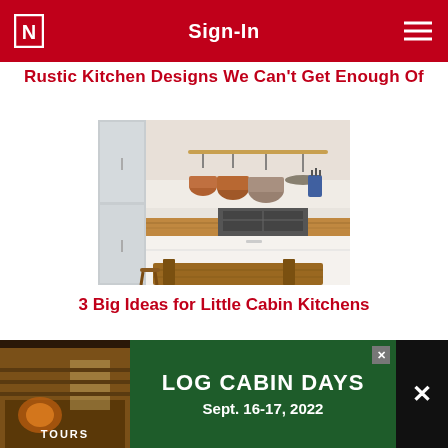Sign-In
Rustic Kitchen Designs We Can't Get Enough Of
[Figure (photo): A rustic cabin kitchen with copper pots hanging on a rod above a white painted wood counter with a wooden butcher block island in the foreground]
3 Big Ideas for Little Cabin Kitchens
[Figure (infographic): Advertisement banner: Log Cabin Days - Tours - Sept. 16-17, 2022 with a log cabin interior photo on the left and green background text on the right]